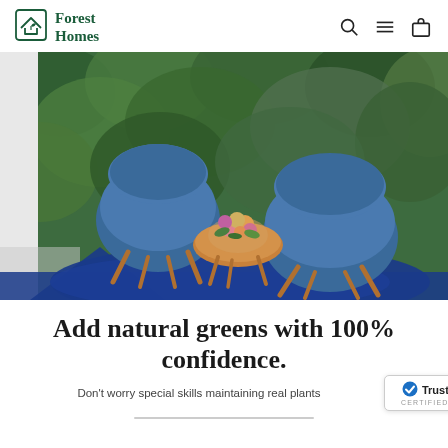Forest Homes
[Figure (photo): Two blue lounge chairs with wooden legs on a blue rug, with a small round wooden table holding a flower bouquet, against a lush green plant wall backdrop.]
Add natural greens with 100% confidence.
Don't worry special skills maintaining real plants
[Figure (logo): TrustedSite CERTIFIED SECURE badge]